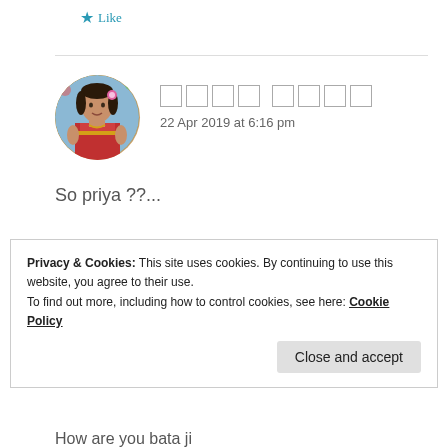★ Like
[Figure (photo): Circular avatar of a woman in traditional Indian attire (colorful sari, jewelry) with a floral background]
□□□□ □□□□
22 Apr 2019 at 6:16 pm
So priya ??...
★ Like
Privacy & Cookies: This site uses cookies. By continuing to use this website, you agree to their use.
To find out more, including how to control cookies, see here: Cookie Policy
Close and accept
How are you bata ji